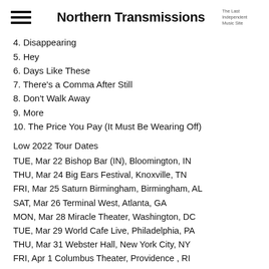Northern Transmissions — The Last Independent Music Site
4. Disappearing
5. Hey
6. Days Like These
7. There's a Comma After Still
8. Don't Walk Away
9. More
10. The Price You Pay (It Must Be Wearing Off)
Low 2022 Tour Dates
TUE, Mar 22 Bishop Bar (IN), Bloomington, IN
THU, Mar 24 Big Ears Festival, Knoxville, TN
FRI, Mar 25 Saturn Birmingham, Birmingham, AL
SAT, Mar 26 Terminal West, Atlanta, GA
MON, Mar 28 Miracle Theater, Washington, DC
TUE, Mar 29 World Cafe Live, Philadelphia, PA
THU, Mar 31 Webster Hall, New York City, NY
FRI, Apr 1 Columbus Theater, Providence , RI